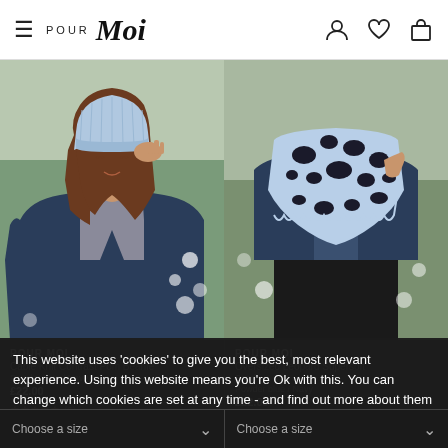Pour Moi — navigation header with hamburger menu, logo, user/wishlist/bag icons
[Figure (photo): Woman wearing a light blue ribbed knit beanie and dark denim jacket, looking down with hand touching hat, outdoor background with white flowers]
[Figure (photo): Torso of woman wearing navy denim jacket and cow-print (blue and black) oversized supersoft scarf, with black leggings, outdoor background]
POUR MOI
POUR MOI
Cable Knit Contrast Pom Beanie — Powder blue / Navy
Oversized Leopard Supersoft Scarf — Powder blue / Navy
This website uses 'cookies' to give you the best, most relevant experience. Using this website means you're Ok with this. You can change which cookies are set at any time - and find out more about them - by following this link (or by clicking the cookie link at the top of any page).
OK, I understand
Choose a size
Choose a size